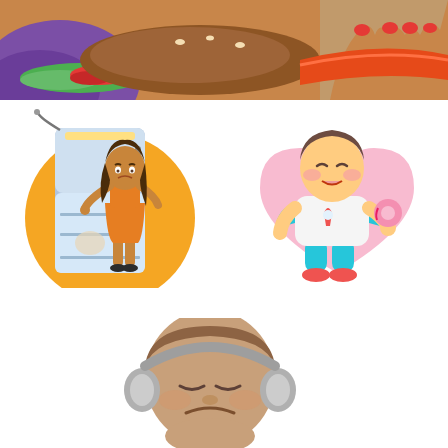[Figure (illustration): Close-up illustration of colorful fast food items including a burger, sandwich with purple bread, and hands holding food with red fingernails on a brown/tan background]
[Figure (illustration): Cartoon illustration of a slim woman in an orange dress standing in front of an open refrigerator, set on a yellow circle background]
[Figure (illustration): Cartoon illustration of a chubby child eating a donut, wearing a white shirt with rocket motif and teal pants, set on a pink heart-shaped background]
[Figure (illustration): Cartoon illustration of a sad overweight person's face with downturned mouth, wearing headphones, with tan/brown skin tones]